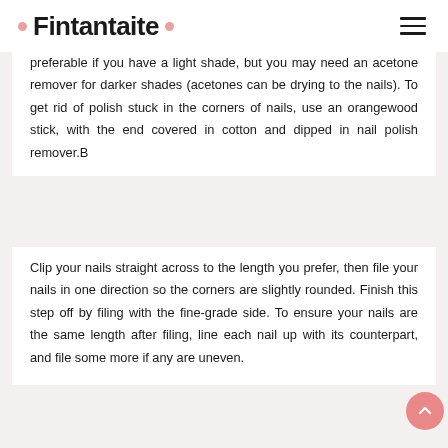Fintantaite
preferable if you have a light shade, but you may need an acetone remover for darker shades (acetones can be drying to the nails). To get rid of polish stuck in the corners of nails, use an orangewood stick, with the end covered in cotton and dipped in nail polish remover.B
Clip your nails straight across to the length you prefer, then file your nails in one direction so the corners are slightly rounded. Finish this step off by filing with the fine-grade side. To ensure your nails are the same length after filing, line each nail up with its counterpart, and file some more if any are uneven.